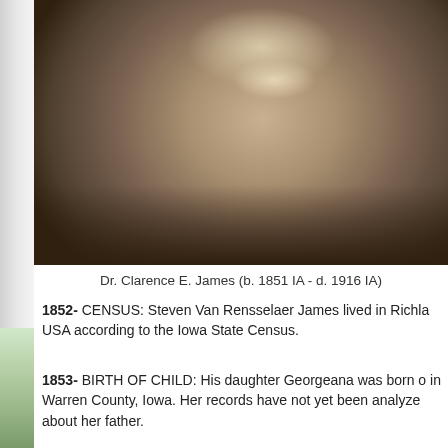[Figure (photo): Sepia-toned portrait photograph of Dr. Clarence E. James, a middle-aged man with a mustache wearing a dark suit jacket with a white shirt and dark tie.]
Dr. Clarence E. James (b. 1851 IA - d. 1916 IA)
1852- CENSUS: Steven Van Rensselaer James lived in Richla USA according to the Iowa State Census.
1853- BIRTH OF CHILD: His daughter Georgeana was born o in Warren County, Iowa. Her records have not yet been analyze about her father.